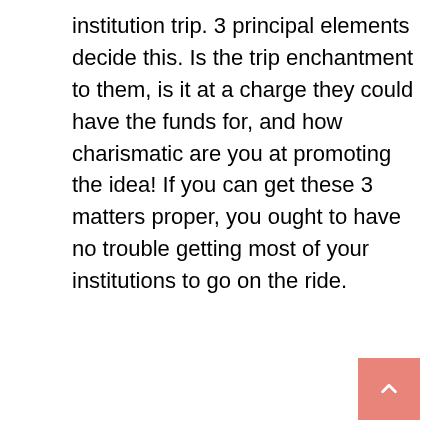institution trip. 3 principal elements decide this. Is the trip enchantment to them, is it at a charge they could have the funds for, and how charismatic are you at promoting the idea! If you can get these 3 matters proper, you ought to have no trouble getting most of your institutions to go on the ride.